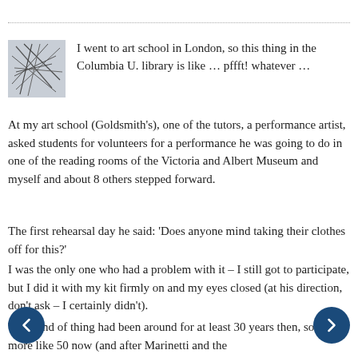I went to art school in London, so this thing in the Columbia U. library is like … pffft! whatever …
At my art school (Goldsmith's), one of the tutors, a performance artist, asked students for volunteers for a performance he was going to do in one of the reading rooms of the Victoria and Albert Museum and myself and about 8 others stepped forward.
The first rehearsal day he said: 'Does anyone mind taking their clothes off for this?'
I was the only one who had a problem with it – I still got to participate, but I did it with my kit firmly on and my eyes closed (at his direction, don't ask – I certainly didn't).
That kind of thing had been around for at least 30 years then, so it's more like 50 now (and after Marinetti and the